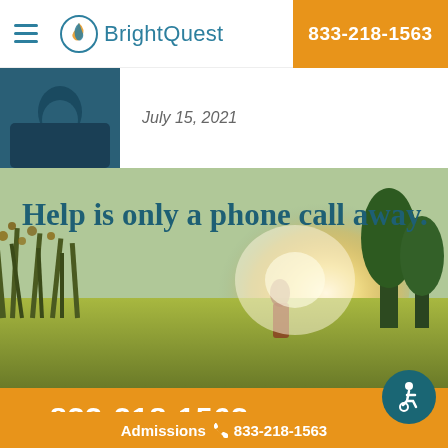BrightQuest | 833-218-1563
[Figure (photo): Person with hands clasped, head bowed, wearing dark blue top]
July 15, 2021
[Figure (photo): Outdoor sunny landscape with tall grass and wildflowers, person walking in sunlight]
Help is only a phone call away.
833-218-1563
Admissions 833-218-1563